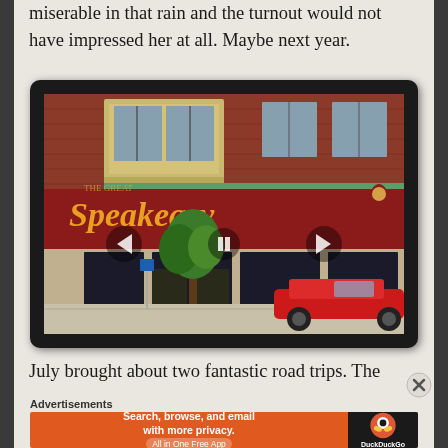miserable in that rain and the turnout would not have impressed her at all. Maybe next year.
[Figure (photo): Street-level photo of a business called Speakeasy with a dark red brick building facade, large red storefront sign reading 'Speakeasy', trees on the sidewalk, and a red car parked in front. Displayed in a tablet-style dark frame with navigation arrows.]
July brought about two fantastic road trips. The
Advertisements
[Figure (screenshot): DuckDuckGo advertisement banner. Orange background with text: 'Search, browse, and email with more privacy. All in One Free App'. DuckDuckGo logo on right side with black background.]